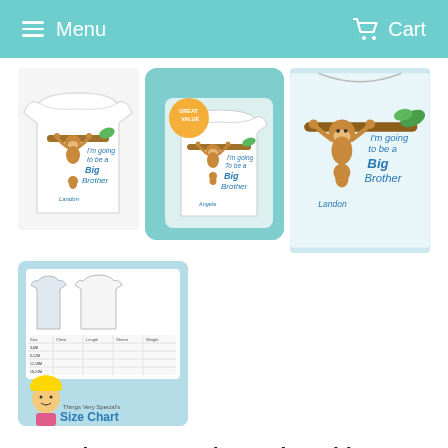Menu   Cart
[Figure (photo): White toddler t-shirt with monkey 'I'm going to be a Big Brother' design]
[Figure (photo): T-shirt product image on teal background with sale badge, monkey 'I'm going to be a Big Brother' design]
[Figure (photo): Close-up photo of white shirt with monkey 'I'm going to be a Big Brother' embroidery]
[Figure (photo): Size chart graphic for Things Very Special showing garment measurements]
I'm Going to Be A Big Brother Shirt, Personalized Big Brother Monkey Shirt